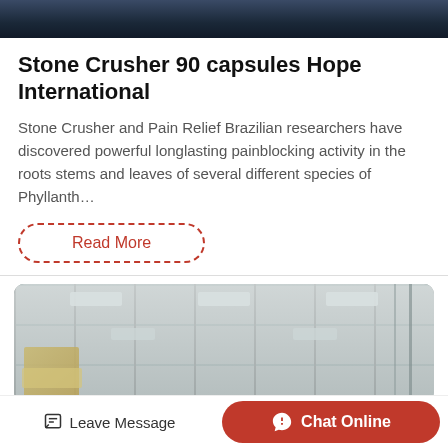[Figure (photo): Dark industrial/mechanical scene at top]
Stone Crusher 90 capsules Hope International
Stone Crusher and Pain Relief Brazilian researchers have discovered powerful longlasting painblocking activity in the roots stems and leaves of several different species of Phyllanth…
Read More
[Figure (photo): Interior of a large industrial warehouse with high ceilings, shelving racks, and stacked pallets]
Leave Message
Chat Online